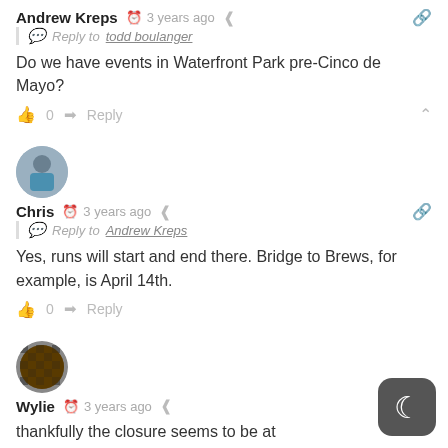Andrew Kreps · 3 years ago — Reply to todd boulanger — Do we have events in Waterfront Park pre-Cinco de Mayo? — 0 Reply
[Figure (photo): Circular avatar photo of Chris, showing a person from behind in blue clothing]
Chris · 3 years ago — Reply to Andrew Kreps — Yes, runs will start and end there. Bridge to Brews, for example, is April 14th. — 0 Reply
[Figure (photo): Circular avatar of Wylie, dark brown checkered pattern]
Wylie · 3 years ago — thankfully the closure seems to be at